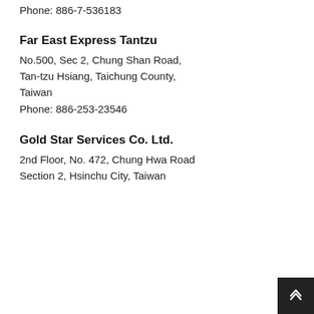Phone: 886-7-536183
Far East Express Tantzu
No.500, Sec 2, Chung Shan Road, Tan-tzu Hsiang, Taichung County, Taiwan
Phone: 886-253-23546
Gold Star Services Co. Ltd.
2nd Floor, No. 472, Chung Hwa Road Section 2, Hsinchu City, Taiwan